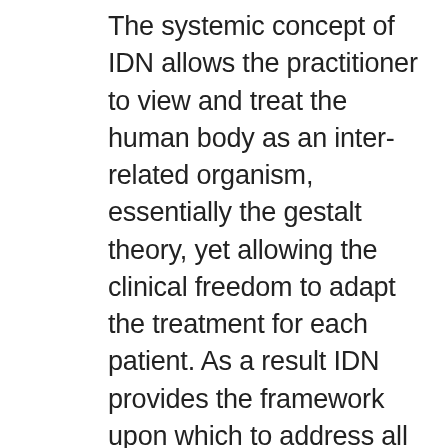The systemic concept of IDN allows the practitioner to view and treat the human body as an inter-related organism, essentially the gestalt theory, yet allowing the clinical freedom to adapt the treatment for each patient. As a result IDN provides the framework upon which to address all types of physical dysfunction. The IDN system integrates the older traditional treatment approaches to create an assessment and treatment system